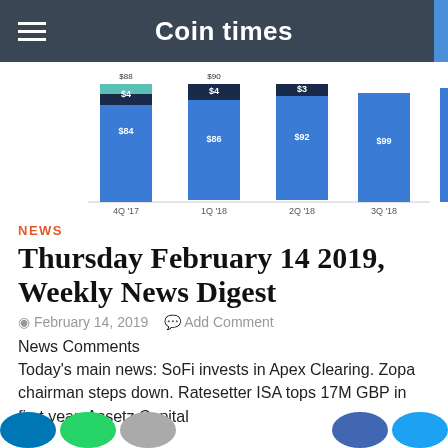Coin times
[Figure (stacked-bar-chart): Quarterly chart]
NEWS
Thursday February 14 2019, Weekly News Digest
February 14, 2019   Add Comment
News Comments
Today's main news: SoFi invests in Apex Clearing. Zopa chairman steps down. Ratesetter ISA tops 17M GBP in first year. Assetz Capital